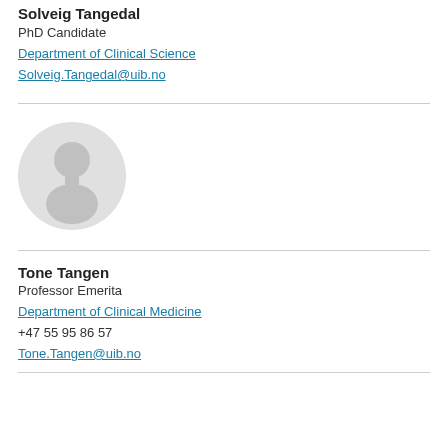Solveig Tangedal
PhD Candidate
Department of Clinical Science
Solveig.Tangedal@uib.no
[Figure (illustration): Generic placeholder silhouette avatar of a person, gray tones, no identifying features]
Tone Tangen
Professor Emerita
Department of Clinical Medicine
+47 55 95 86 57
Tone.Tangen@uib.no